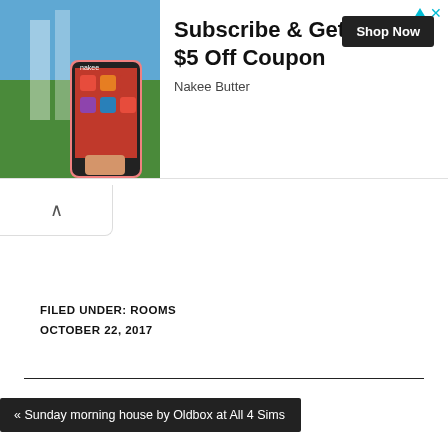[Figure (infographic): Advertisement banner: photo of a phone/app on left, text 'Subscribe & Get $5 Off Coupon', 'Nakee Butter', 'Shop Now' button on right. Ad attribution icons top-right.]
FILED UNDER: ROOMS
OCTOBER 22, 2017
« Sunday morning house by Oldbox at All 4 Sims